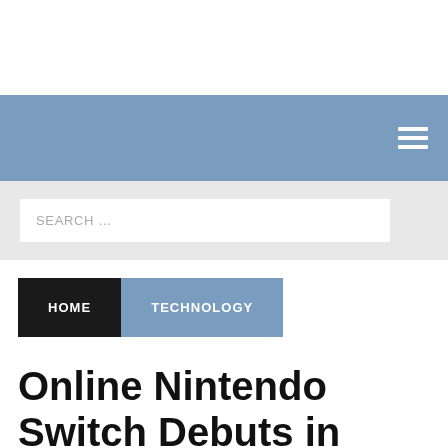HOME  TECHNOLOGY
Online Nintendo Switch Debuts in September's Second Half